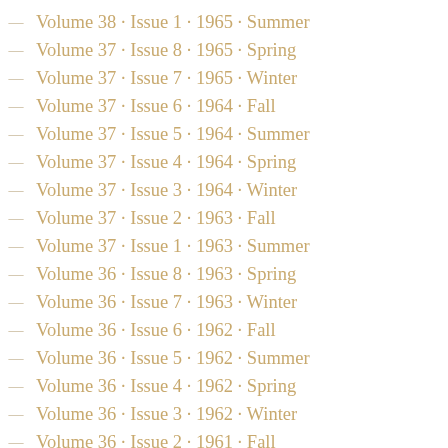Volume 38 · Issue 1 · 1965 · Summer
Volume 37 · Issue 8 · 1965 · Spring
Volume 37 · Issue 7 · 1965 · Winter
Volume 37 · Issue 6 · 1964 · Fall
Volume 37 · Issue 5 · 1964 · Summer
Volume 37 · Issue 4 · 1964 · Spring
Volume 37 · Issue 3 · 1964 · Winter
Volume 37 · Issue 2 · 1963 · Fall
Volume 37 · Issue 1 · 1963 · Summer
Volume 36 · Issue 8 · 1963 · Spring
Volume 36 · Issue 7 · 1963 · Winter
Volume 36 · Issue 6 · 1962 · Fall
Volume 36 · Issue 5 · 1962 · Summer
Volume 36 · Issue 4 · 1962 · Spring
Volume 36 · Issue 3 · 1962 · Winter
Volume 36 · Issue 2 · 1961 · Fall